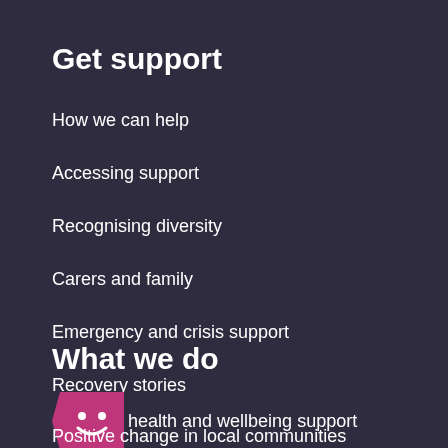Get support
How we can help
Accessing support
Recognising diversity
Carers and family
Emergency and crisis support
Recovery stories
What we do
[Figure (logo): Pink mascot/logo icon with a smiley face on a folded ticket/tag shape]
Mental health and wellbeing support
Positive change in local communities